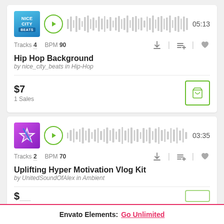[Figure (screenshot): Music track card for Hip Hop Background by nice_city_beats. Shows album thumbnail (Nice City Beats blue logo), play button, waveform, duration 05:13, Tracks 4, BPM 90, download/add/favorite icons, price $7, 1 Sales, cart button.]
Hip Hop Background
by nice_city_beats in Hip-Hop
$7
1 Sales
[Figure (screenshot): Music track card for Uplifting Hyper Motivation Vlog Kit by UnitedSoundOfAlex. Shows purple star album art, play button, waveform, duration 03:35, Tracks 2, BPM 70, download/add/favorite icons.]
Uplifting Hyper Motivation Vlog Kit
by UnitedSoundOfAlex in Ambient
Envato Elements: Go Unlimited